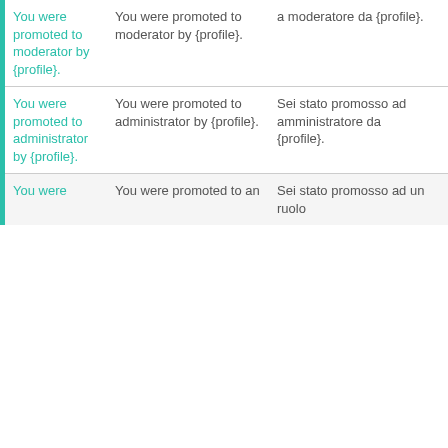| (key) | (English) | (Italian) | (actions) |
| --- | --- | --- | --- |
| You were promoted to moderator by {profile}. | You were promoted to moderator by {profile}. | a moderator da {profile}. |  |
| You were promoted to administrator by {profile}. | You were promoted to administrator by {profile}. | Sei stato promosso ad amministratore da {profile}. | copy edit |
| You were... | You were promoted to an... | Sei stato promosso ad un ruolo... | copy edit |